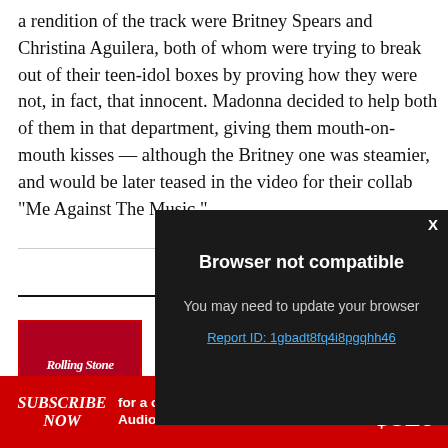a rendition of the track were Britney Spears and Christina Aguilera, both of whom were trying to break out of their teen-idol boxes by proving how they were not, in fact, that innocent. Madonna decided to help both of them in that department, giving them mouth-on-mouth kisses — although the Britney one was steamier, and would be later teased in the video for their collab “Me Against The Music.”
[Figure (screenshot): Browser not compatible modal dialog with dark background, showing title 'Browser not compatible', subtitle 'You may need to update your browser', and a report ID link 'Report ID: 1gbadt8fq4i8pgqhh46'. Close button X in top right.]
[Figure (logo): Rolling Stone magazine cover thumbnail in red box]
SUBSCRIBE NOW for a chance to WIN 1 of 2 Audio Technica turntables VALUED AT $329